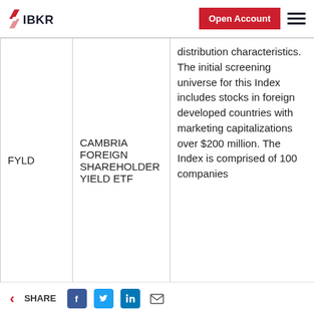IBKR — Open Account
| Ticker | Name | Description | Action |
| --- | --- | --- | --- |
| FYLD | CAMBRIA FOREIGN SHAREHOLDER YIELD ETF | distribution characteristics. The initial screening universe for this Index includes stocks in foreign developed countries with marketing capitalizations over $200 million. The Index is comprised of 100 companies | Download |
SHARE